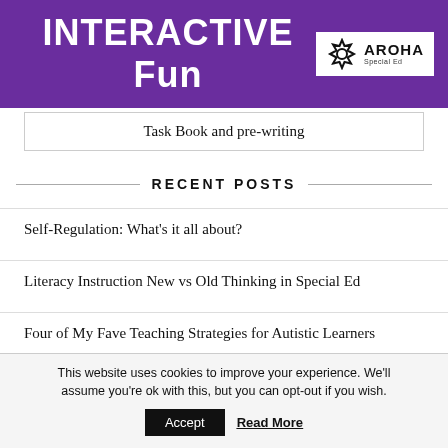[Figure (logo): Purple banner with 'INTERACTIVE Fun' text in white and Aroha Special Ed logo in white box]
Task Book and pre-writing
RECENT POSTS
Self-Regulation: What's it all about?
Literacy Instruction New vs Old Thinking in Special Ed
Four of My Fave Teaching Strategies for Autistic Learners
This website uses cookies to improve your experience. We'll assume you're ok with this, but you can opt-out if you wish.
Accept   Read More